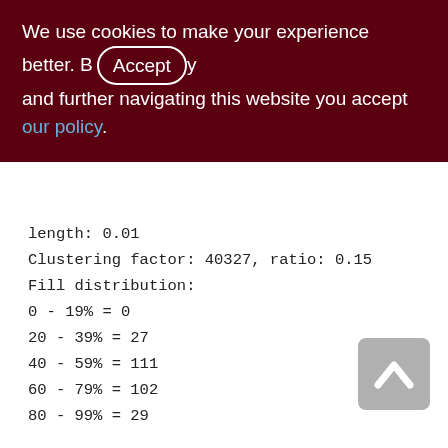We use cookies to make your experience better. By Accepting and further navigating this website you accept our policy.
length: 0.01
Clustering factor: 40327, ratio: 0.15
Fill distribution:
0 - 19% = 0
20 - 39% = 27
40 - 59% = 111
60 - 79% = 102
80 - 99% = 29

Index PDISTR_SNDOP_RCVOP_SNDID_ASC (2)
Root page: 4281, depth: 2, leaf buckets:
324, nodes: 277672